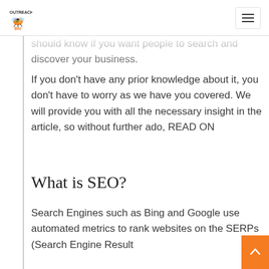Outreach Bee
should know if you want people to search and discover your business.
If you don't have any prior knowledge about it, you don't have to worry as we have you covered. We will provide you with all the necessary insight in the article, so without further ado, READ ON
What is SEO?
Search Engines such as Bing and Google use automated metrics to rank websites on the SERPs (Search Engine Result